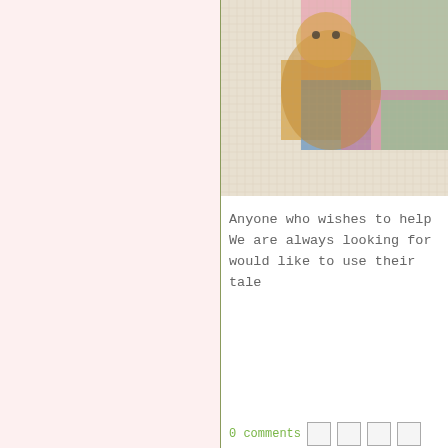[Figure (photo): Cropped cross-stitch embroidery image showing colorful stitched pattern with pink, green, yellow, and blue colors on fabric grid]
Anyone who wishes to help We are always looking for would like to use their tale
0 comments